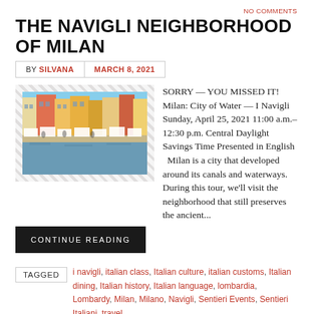NO COMMENTS
THE NAVIGLI NEIGHBORHOOD OF MILAN
BY SILVANA   MARCH 8, 2021
[Figure (photo): Photo of the Navigli canal in Milan with colorful buildings and a market along the waterfront]
SORRY — YOU MISSED IT! Milan: City of Water — I Navigli Sunday, April 25, 2021 11:00 a.m.–12:30 p.m. Central Daylight Savings Time Presented in English   Milan is a city that developed around its canals and waterways. During this tour, we'll visit the neighborhood that still preserves the ancient...
CONTINUE READING
TAGGED   i navigli, italian class, Italian culture, italian customs, Italian dining, Italian history, Italian language, lombardia, Lombardy, Milan, Milano, Navigli, Sentieri Events, Sentieri Italiani, travel to italy